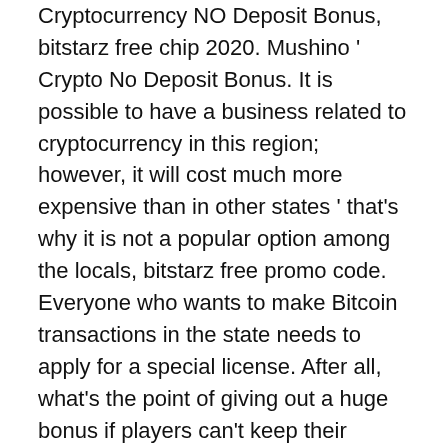Cryptocurrency NO Deposit Bonus, bitstarz free chip 2020. Mushino ' Crypto No Deposit Bonus. It is possible to have a business related to cryptocurrency in this region; however, it will cost much more expensive than in other states ' that's why it is not a popular option among the locals, bitstarz free promo code. Everyone who wants to make Bitcoin transactions in the state needs to apply for a special license. After all, what's the point of giving out a huge bonus if players can't keep their winnings, bitstarz free chip 2021. As a general rule of thumb, a wagering requirement of 20x and below is considered fair, as it isn't difficult to fulfill. Understanding the wagering requirements is important because most online casinos have restrictions on how players can utilize their no deposit bonus, bitstarz free spins 30. Focus on the Big